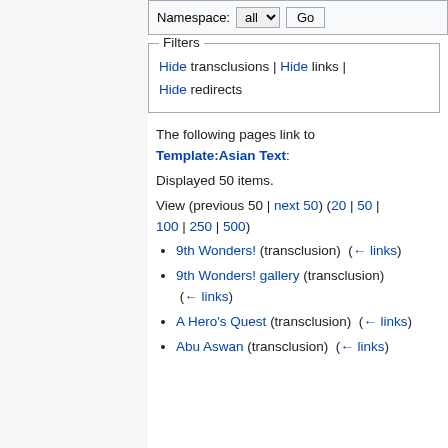Namespace: all [Go]
Filters
Hide transclusions | Hide links | Hide redirects
The following pages link to Template:Asian Text:
Displayed 50 items.
View (previous 50 | next 50) (20 | 50 | 100 | 250 | 500)
9th Wonders! (transclusion) (← links)
9th Wonders! gallery (transclusion) (← links)
A Hero's Quest (transclusion) (← links)
Abu Aswan (transclusion) (← links)